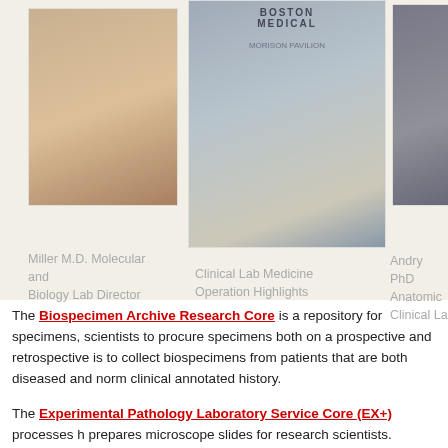[Figure (photo): Photo of Miller M.D. (woman with glasses) on left, Boston Medical Center building in center, and partial photo of Andry PhD on right]
Miller M.D. Molecular and Biology Lab Director
Clinical Lab Medicine Operation Highlights
Andry PhD Anatomic Clinical La...
The Biospecimen Archive Research Core is a repository for specimens, scientists to procure specimens both on a prospective and retrospective is to collect biospecimens from patients that are both diseased and norm clinical annotated history.
The Experimental Pathology Laboratory Service Core (EX+) processes h prepares microscope slides for research scientists.
Emergency-Disaster Preparedness Clinical Suppor
For BMC emergency-disaster response Clinical Support Branch:
Phase B through D all leaders please call in to